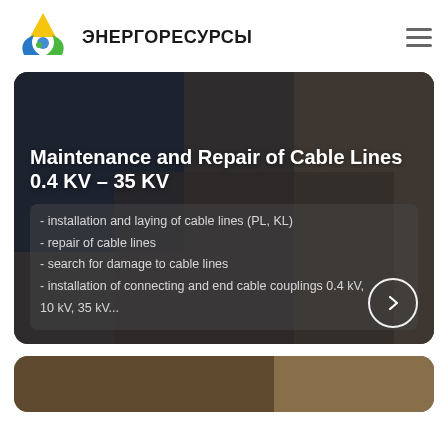[Figure (logo): Energoresursy company logo with triangular blue, green, yellow shapes]
ЭНЕРГОРЕСУРСЫ
[Figure (photo): Workers performing cable line maintenance in a trench excavation]
Maintenance and Repair of Cable Lines 0.4 KV – 35 KV
- installation and laying of cable lines (PL, KL)
- repair of cable lines
- search for damage to cable lines
- installation of connecting and end cable couplings 0.4 kV, 10 kV, 35 kV...
[Figure (photo): Partial view of another cable work photo at the bottom of the page]